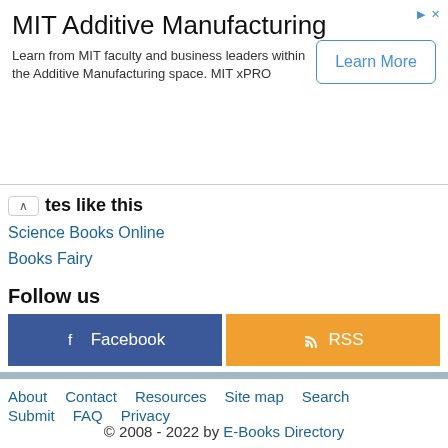[Figure (other): MIT Additive Manufacturing advertisement banner with 'Learn More' button]
tes like this
Science Books Online
Books Fairy
Follow us
[Figure (other): Facebook and RSS social follow buttons]
About   Contact   Resources   Site map   Search   Submit   FAQ   Privacy
© 2008 - 2022 by E-Books Directory